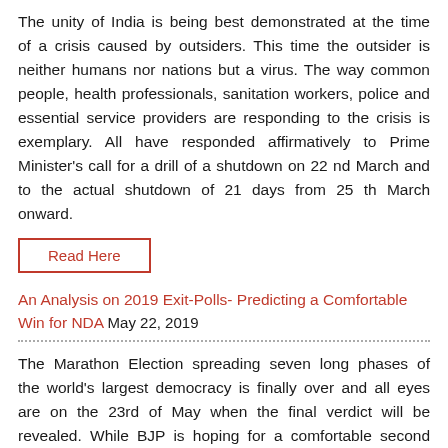The unity of India is being best demonstrated at the time of a crisis caused by outsiders. This time the outsider is neither humans nor nations but a virus. The way common people, health professionals, sanitation workers, police and essential service providers are responding to the crisis is exemplary. All have responded affirmatively to Prime Minister's call for a drill of a shutdown on 22 nd March and to the actual shutdown of 21 days from 25 th March onward.
Read Here
An Analysis on 2019 Exit-Polls- Predicting a Comfortable Win for NDA May 22, 2019
The Marathon Election spreading seven long phases of the world's largest democracy is finally over and all eyes are on the 23rd of May when the final verdict will be revealed. While BJP is hoping for a comfortable second tenure, the Congress fight appears to be for an honourable comeback. The